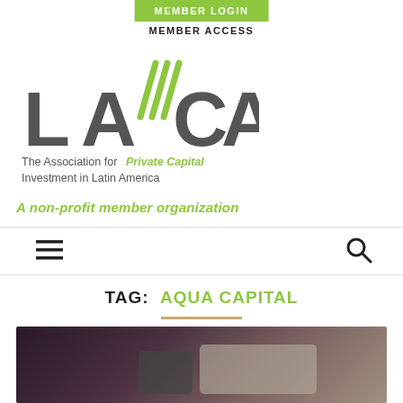MEMBER LOGIN
MEMBER ACCESS
[Figure (logo): LAVCA logo - The Association for Private Capital Investment in Latin America, with green diagonal lines graphic element]
A non-profit member organization
TAG: AQUA CAPITAL
[Figure (photo): Dark background photo, partially visible, appears to show electronic devices or equipment]